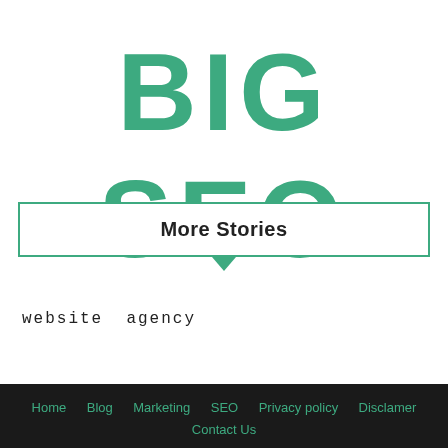BIG SEO
More Stories
website agency
Home  Blog  Marketing  SEO  Privacy policy  Disclamer  Contact Us